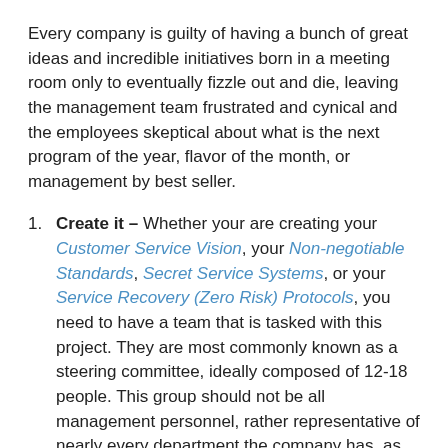Every company is guilty of having a bunch of great ideas and incredible initiatives born in a meeting room only to eventually fizzle out and die, leaving the management team frustrated and cynical and the employees skeptical about what is the next program of the year, flavor of the month, or management by best seller.
Create it – Whether your are creating your Customer Service Vision, your Non-negotiable Standards, Secret Service Systems, or your Service Recovery (Zero Risk) Protocols, you need to have a team that is tasked with this project. They are most commonly known as a steering committee, ideally composed of 12-18 people. This group should not be all management personnel, rather representative of nearly every department the company has, as well as some front-line employees. This will ensure the group as a whole is working for the best interest of the entire company. This project also